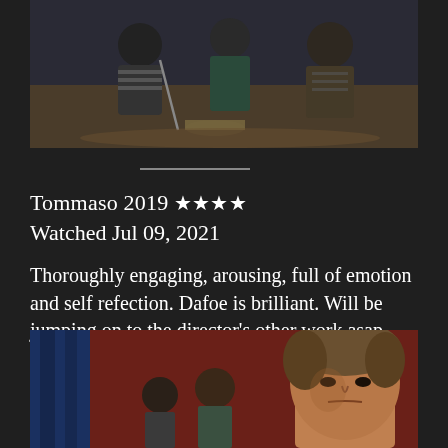[Figure (photo): Movie still showing people sitting on a floor in a room, wearing casual/patterned clothes, with items scattered around them.]
Tommaso 2019 ★★★★
Watched Jul 09, 2021
Thoroughly engaging, arousing, full of emotion and self refection. Dafoe is brilliant. Will be jumping on to the director's other work asap.
[Figure (photo): Movie still showing Willem Dafoe in the foreground, with other people visible behind him in a room with red walls and blue curtains.]